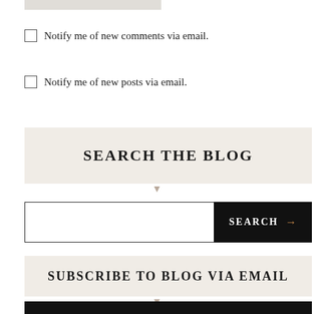Notify me of new comments via email.
Notify me of new posts via email.
SEARCH THE BLOG
SEARCH →
SUBSCRIBE TO BLOG VIA EMAIL